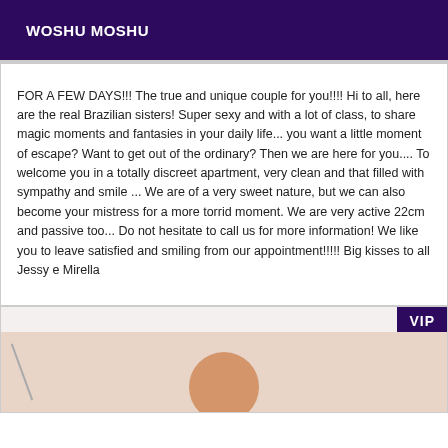WOSHU MOSHU
FOR A FEW DAYS!!! The true and unique couple for you!!!! Hi to all, here are the real Brazilian sisters! Super sexy and with a lot of class, to share magic moments and fantasies in your daily life... you want a little moment of escape? Want to get out of the ordinary? Then we are here for you.... To welcome you in a totally discreet apartment, very clean and that filled with sympathy and smile ... We are of a very sweet nature, but we can also become your mistress for a more torrid moment. We are very active 22cm and passive too... Do not hesitate to call us for more information! We like you to leave satisfied and smiling from our appointment!!!!! Big kisses to all Jessy e Mirella
[Figure (photo): Bottom card with VIP badge in dark purple, and a partial skin-tone photo at the bottom]